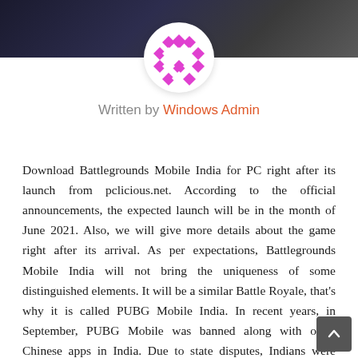[Figure (photo): Dark themed banner image with game characters in the background]
[Figure (logo): Pink/magenta checkered diamond pattern logo in a white circle]
Written by Windows Admin
Download Battlegrounds Mobile India for PC right after its launch from pclicious.net. According to the official announcements, the expected launch will be in the month of June 2021. Also, we will give more details about the game right after its arrival. As per expectations, Battlegrounds Mobile India will not bring the uniqueness of some distinguished elements. It will be a similar Battle Royale, that's why it is called PUBG Mobile India. In recent years, in September, PUBG Mobile was banned along with other Chinese apps in India. Due to state disputes, Indians were deprived of PUBG, TikTok and all other famous Chinese platforms. Ad: Battlegrounds Mobile India is no available for pre-registration. Here is the link to BGMI o